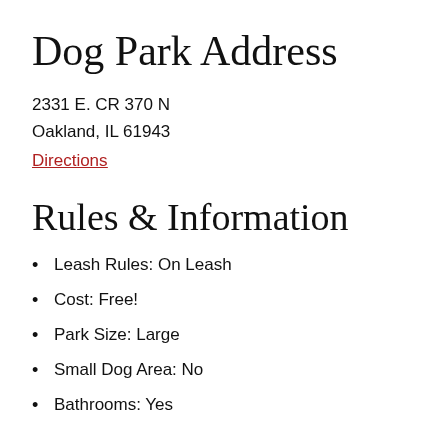Dog Park Address
2331 E. CR 370 N
Oakland, IL 61943
Directions
Rules & Information
Leash Rules: On Leash
Cost: Free!
Park Size: Large
Small Dog Area: No
Bathrooms: Yes